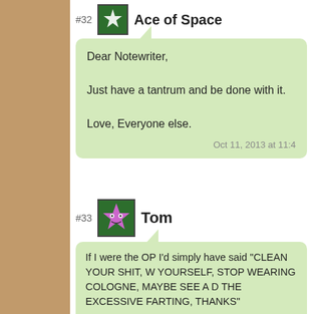#32 Ace of Space
Dear Notewriter,

Just have a tantrum and be done with it.

Love, Everyone else.
Oct 11, 2013 at 11:4
#33 Tom
If I were the OP I'd simply have said "CLEAN YOUR SHIT, W YOURSELF, STOP WEARING COLOGNE, MAYBE SEE A D THE EXCESSIVE FARTING, THANKS"

And not timed his wake-up farts in the morning. Seriously….tim Does he stand there air-testing them and come to the conclusion grams too much sugar yesterday"?